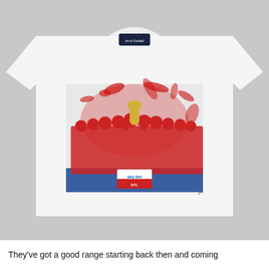[Figure (photo): A white t-shirt laid flat with a small brand label near the collar. On the chest of the t-shirt is a printed graphic showing a football team celebrating with a trophy, wearing red shirts, surrounded by a red paint-splash artistic effect. The background of the photo is light grey.]
They've got a good range starting back then and coming